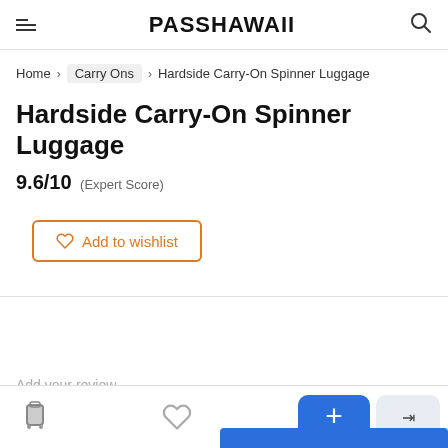PASSHAWAII
Home > Carry Ons > Hardside Carry-On Spinner Luggage
Hardside Carry-On Spinner Luggage
9.6/10 (Expert Score)
Add to wishlist
Add your review
5  Carry Ons